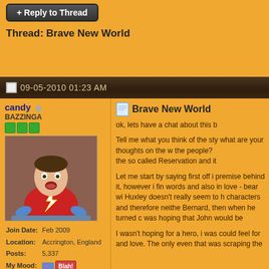+ Reply to Thread
Thread: Brave New World
09-05-2010 01:23 AM
candy
BAZZINGA
Join Date: Feb 2009
Location: Accrington, England
Posts: 5,337
My Mood: Blah!
Country:
Brave New World
ok, lets have a chat about this b

Tell me what you think of the sty what are your thoughts on the w the people?
the so called Reservation and it

Let me start by saying first off i premise behind it, however i fin words and also in love - bear wi Huxley doesn't really seem to h characters and therefore neithe Bernard, then when he turned c was hoping that John would be

I wasn't hoping for a hero, i was could feel for and love. The only even that was scraping the